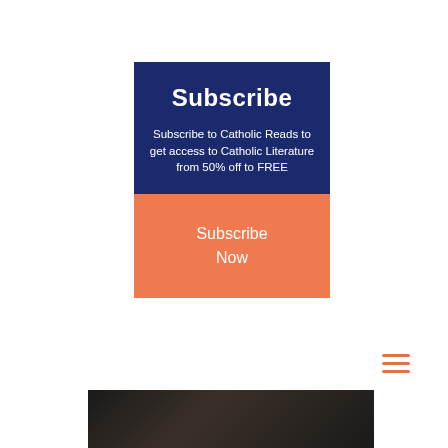Subscribe
Subscribe to Catholic Reads to get access to Catholic Literature from 50% off to FREE
Subscribe Now
[Figure (other): Hamburger menu icon with three horizontal orange lines]
[Figure (photo): Dark background image at the bottom of the page]